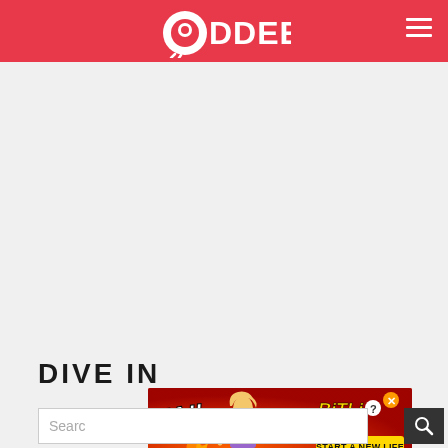ODDEE
[Figure (screenshot): Large blank/empty content area below the red header, showing a mostly gray page with no articles visible]
DIVE IN
[Figure (infographic): BitLife advertisement banner with FAIL text, cartoon blonde woman, flames, sperm icon, BitLife logo, and 'START A NEW LIFE' text on a red/orange fiery background]
Search